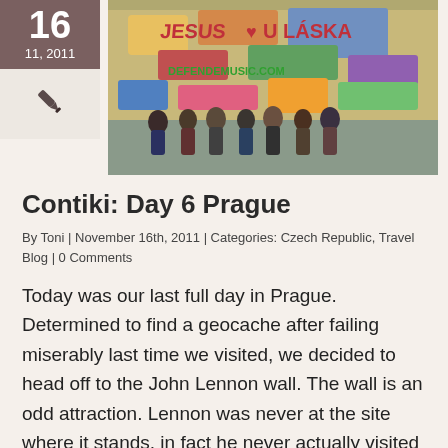[Figure (photo): Date box showing '16' and '11, 2011' on a dark brownish-purple background, alongside a pen/quill icon in a light box, and a photo of the John Lennon Wall in Prague with graffiti text including 'JESUS U LÁSKA' and a group of people standing in front of it.]
Contiki: Day 6 Prague
By Toni | November 16th, 2011 | Categories: Czech Republic, Travel Blog | 0 Comments
Today was our last full day in Prague. Determined to find a geocache after failing miserably last time we visited, we decided to head off to the John Lennon wall. The wall is an odd attraction. Lennon was never at the site where it stands, in fact he never actually visited Prague at all. The wall came to be